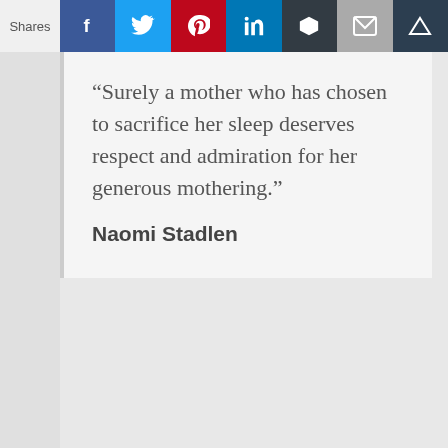Shares | Facebook | Twitter | Pinterest | LinkedIn | Buffer | Email | Other
“Surely a mother who has chosen to sacrifice her sleep deserves respect and admiration for her generous mothering.”
Naomi Stadlen